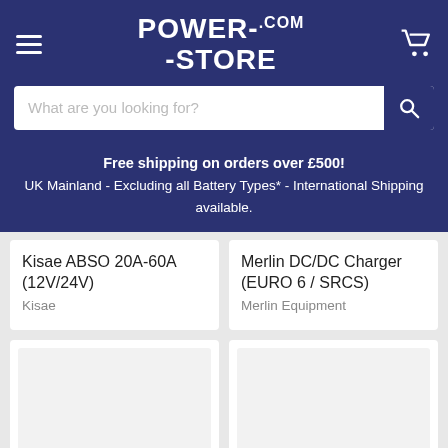[Figure (logo): Power-Store.com logo in white text on dark navy background]
[Figure (screenshot): Search bar with placeholder text 'What are you looking for?' and a search button]
Free shipping on orders over £500! UK Mainland - Excluding all Battery Types* - International Shipping available.
Kisae ABSO 20A-60A (12V/24V)
Kisae
Merlin DC/DC Charger (EURO 6 / SRCS)
Merlin Equipment
[Figure (photo): Empty product card image placeholder (bottom left)]
[Figure (photo): Empty product card image placeholder (bottom right)]